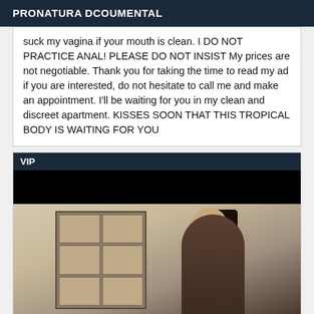PRONATURA DCOUMENTAL
suck my vagina if your mouth is clean. I DO NOT PRACTICE ANAL! PLEASE DO NOT INSIST My prices are not negotiable. Thank you for taking the time to read my ad if you are interested, do not hesitate to call me and make an appointment. I'll be waiting for you in my clean and discreet apartment. KISSES SOON THAT THIS TROPICAL BODY IS WAITING FOR YOU
[Figure (photo): VIP section with dark banner and photo of a person with long dark hair facing away, standing near a decorative wall display]